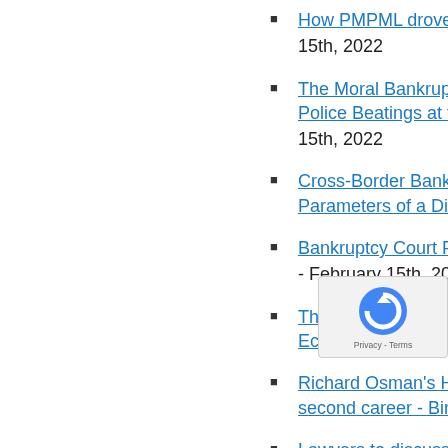How PMPML drove on the lo… 15th, 2022
The Moral Bankruptcy of a V… Police Beatings at the Arkan… 15th, 2022
Cross-Border Bankruptcy Ca… Parameters of a Discovery T…
Bankruptcy Court Protects C… - February 15th, 2022
They ask to decree the bank… Economic Criminal Chamber…
Richard Osman's House of G… second career - Birmingham…
Lawyers to discuss whether … Guam Pacific Da…
Guatemala - cha… approval of the law on insolv…